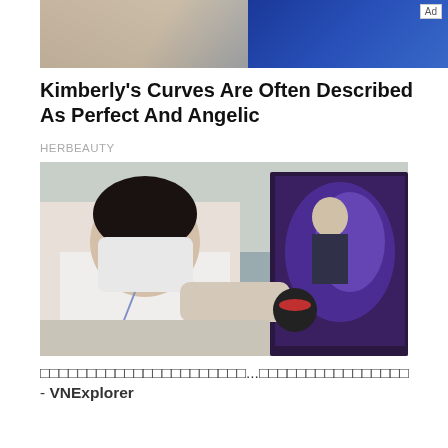[Figure (photo): Top portion of an advertisement showing a partial image of a person in a blue outfit, with an 'Ad' badge in the top right corner.]
Kimberly's Curves Are Often Described As Perfect And Angelic
HERBEAUTY
[Figure (photo): Photo of a young man wearing a white shirt and face mask, using a handheld device near a large monitor in an office setting. Other people are visible in the background.]
□□□□□□□□□□□□□□□□□□□□□□...□□□□□□□□□□□□□□□□ - VNExplorer